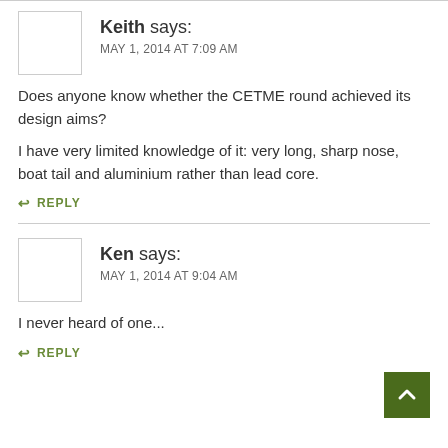Keith says:
MAY 1, 2014 AT 7:09 AM
Does anyone know whether the CETME round achieved its design aims?
I have very limited knowledge of it: very long, sharp nose, boat tail and aluminium rather than lead core.
REPLY
Ken says:
MAY 1, 2014 AT 9:04 AM
I never heard of one...
REPLY